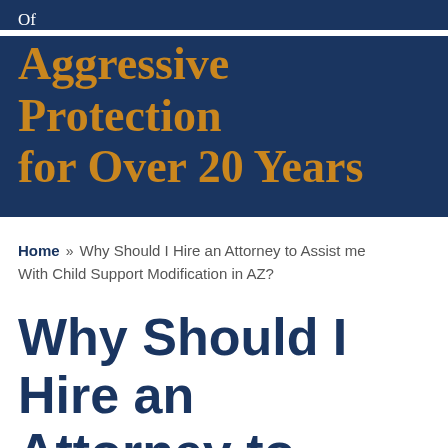Of
Aggressive Protection for Over 20 Years
Home » Why Should I Hire an Attorney to Assist me With Child Support Modification in AZ?
Why Should I Hire an Attorney to Assist me With Child Support